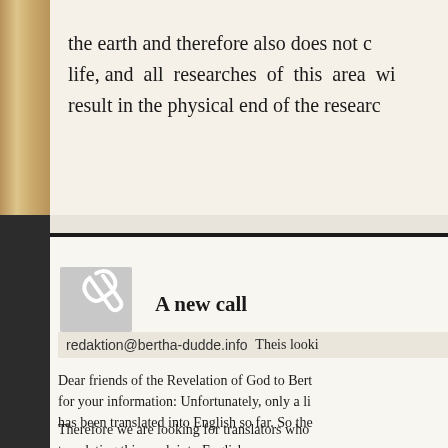the earth and therefore also does not [support] life, and all researches of this area wi[ll] result in the physical end of the resear[cher]
A new call
redaktion@bertha-dudde.info  Theis looki[ng]
Dear friends of the Revelation of God to Bert[ha] for your information: Unfortunately, only a li[ttle] has been translated into English so far. So the[…]
Therefore we are looking for translators who [are] translating this work into English.